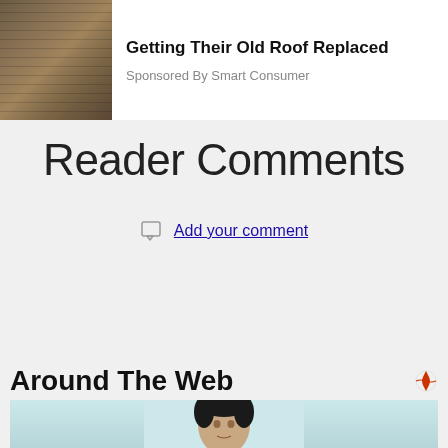[Figure (photo): Roof image thumbnail on left, sponsored content card showing 'Getting Their Old Roof Replaced' title and 'Sponsored By Smart Consumer' text]
Reader Comments
Add your comment
Advertise here for only $75 per month Contact Kathi: kathi@waheagle.com (360) 795-3391
Around The Web
[Figure (photo): Portrait photo of a young man with dark hair against a light teal/blue background, cropped to show head and upper shoulders]